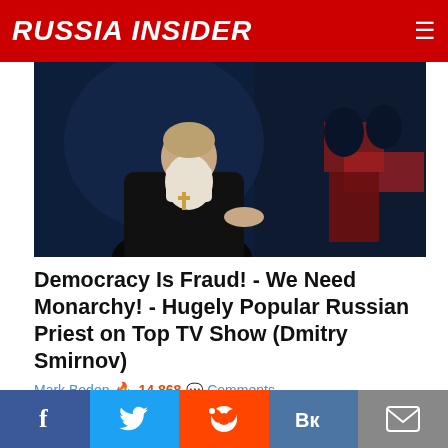RUSSIA INSIDER
[Figure (photo): An elderly bearded Russian Orthodox priest speaking at a television studio, wearing black robes and a cross medallion.]
Democracy Is Fraud! - We Need Monarchy! - Hugely Popular Russian Priest on Top TV Show (Dmitry Smirnov)
Mark Boden  🔥 14,868  💬 Comments
[Figure (photo): Black and white historical photo with green text overlay reading HOMO HISTORY, showing a group of formally dressed men.]